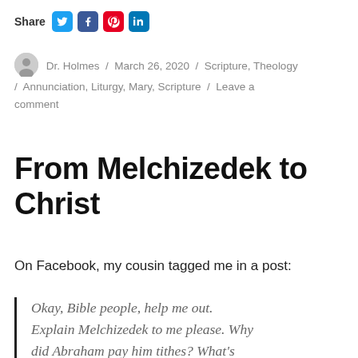Share [Twitter] [Facebook] [Pinterest] [LinkedIn]
Dr. Holmes / March 26, 2020 / Scripture, Theology / Annunciation, Liturgy, Mary, Scripture / Leave a comment
From Melchizedek to Christ
On Facebook, my cousin tagged me in a post:
Okay, Bible people, help me out. Explain Melchizedek to me please. Why did Abraham pay him tithes? What's the connection to Jesus?